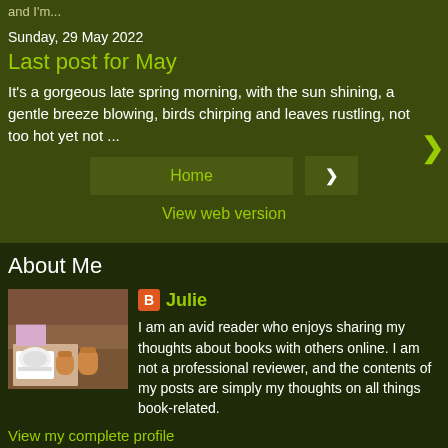and I'm...
Sunday, 29 May 2022
Last post for May
It's a gorgeous late spring morning, with the sun shining, a gentle breeze blowing, birds chirping and leaves rustling, not too hot yet not ...
Home
View web version
About Me
[Figure (photo): Profile photo showing a coffee cup and pastries on a table]
Julie
I am an avid reader who enjoys sharing my thoughts about books with others online. I am not a professional reviewer, and the contents of my posts are simply my thoughts on all things book-related.
View my complete profile
Powered by Blogger.